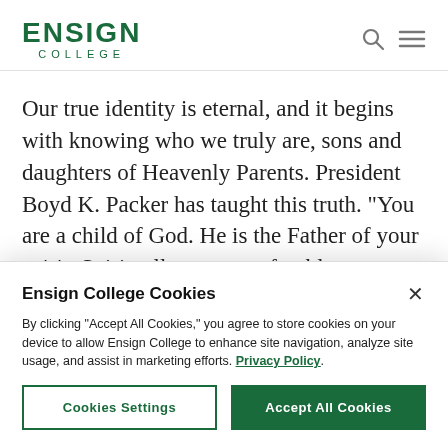ENSIGN COLLEGE
Our true identity is eternal, and it begins with knowing who we truly are, sons and daughters of Heavenly Parents. President Boyd K. Packer has taught this truth. “You are a child of God. He is the Father of your spirit. Spiritually you are of noble
Ensign College Cookies
By clicking “Accept All Cookies,” you agree to store cookies on your device to allow Ensign College to enhance site navigation, analyze site usage, and assist in marketing efforts. Privacy Policy
Cookies Settings | Accept All Cookies